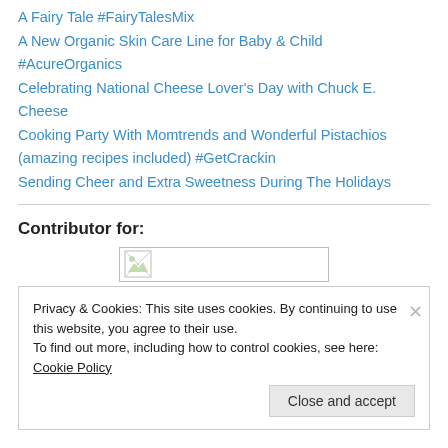A Fairy Tale #FairyTalesMix
A New Organic Skin Care Line for Baby & Child #AcureOrganics
Celebrating National Cheese Lover's Day with Chuck E. Cheese
Cooking Party With Momtrends and Wonderful Pistachios (amazing recipes included) #GetCrackin
Sending Cheer and Extra Sweetness During The Holidays
Contributor for:
[Figure (illustration): Small broken image placeholder icon inside a bordered rectangle]
Privacy & Cookies: This site uses cookies. By continuing to use this website, you agree to their use.
To find out more, including how to control cookies, see here: Cookie Policy
Close and accept